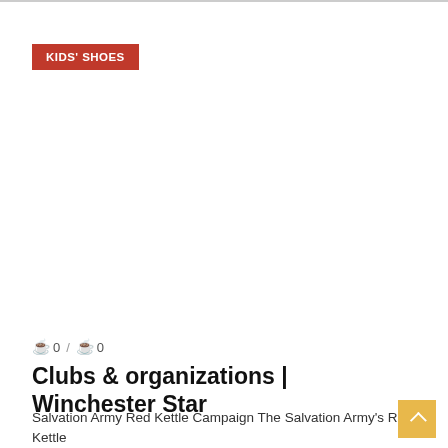KIDS' SHOES
0 / 0
Clubs & organizations | Winchester Star
Salvation Army Red Kettle Campaign The Salvation Army's Red Kettle